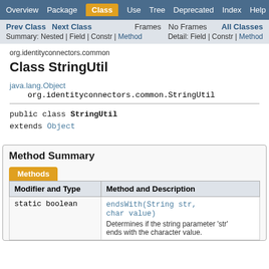Overview | Package | Class | Use | Tree | Deprecated | Index | Help
Prev Class  Next Class  Frames  No Frames  All Classes
Summary: Nested | Field | Constr | Method  Detail: Field | Constr | Method
org.identityconnectors.common
Class StringUtil
java.lang.Object
    org.identityconnectors.common.StringUtil
Method Summary
| Modifier and Type | Method and Description |
| --- | --- |
| static boolean | endsWith(String str, char value)
Determines if the string parameter 'str' ends with the character value. |